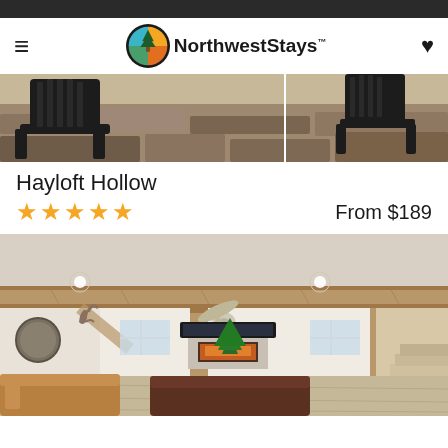NorthwestStays
[Figure (photo): Outdoor patio area with black Adirondack chairs and stone wall background]
Hayloft Hollow
★★★★★   From $189
[Figure (photo): Interior photo of a large rustic open-plan living area with wooden beam ceiling, ceiling fan, fireplace with TV above, leather sofa, mounted deer head, and wall clock]